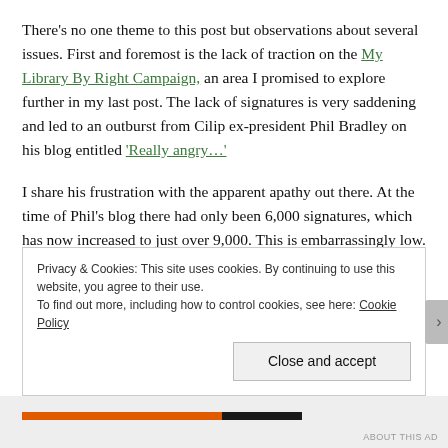There's no one theme to this post but observations about several issues. First and foremost is the lack of traction on the My Library By Right Campaign, an area I promised to explore further in my last post. The lack of signatures is very saddening and led to an outburst from Cilip ex-president Phil Bradley on his blog entitled 'Really angry…'
I share his frustration with the apparent apathy out there. At the time of Phil's blog there had only been 6,000 signatures, which has now increased to just over 9,000. This is embarrassingly low. There are 13,000 Cilip members so at the very least there should be 13,000 signatures. The fact there is
Privacy & Cookies: This site uses cookies. By continuing to use this website, you agree to their use.
To find out more, including how to control cookies, see here: Cookie Policy
Close and accept